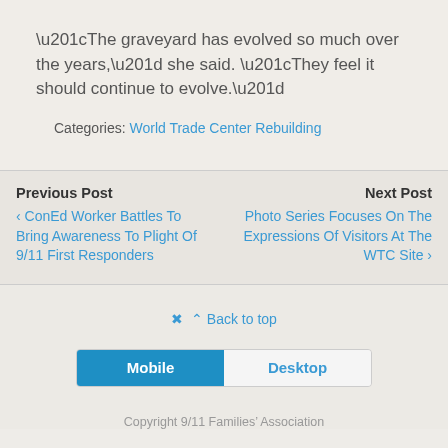“The graveyard has evolved so much over the years,” she said. “They feel it should continue to evolve.”
Categories: World Trade Center Rebuilding
Previous Post ‹ ConEd Worker Battles To Bring Awareness To Plight Of 9/11 First Responders
Next Post Photo Series Focuses On The Expressions Of Visitors At The WTC Site ›
⌃ Back to top
Mobile   Desktop
Copyright 9/11 Families’ Association